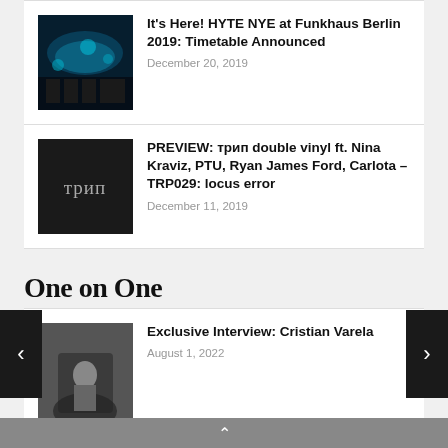It's Here! HYTE NYE at Funkhaus Berlin 2019: Timetable Announced
December 20, 2019
PREVIEW: трип double vinyl ft. Nina Kraviz, PTU, Ryan James Ford, Carlota – TRP029: locus error
December 11, 2019
One on One
Exclusive Interview: Cristian Varela
August 1, 2022
Exclusive Interview with Valeron